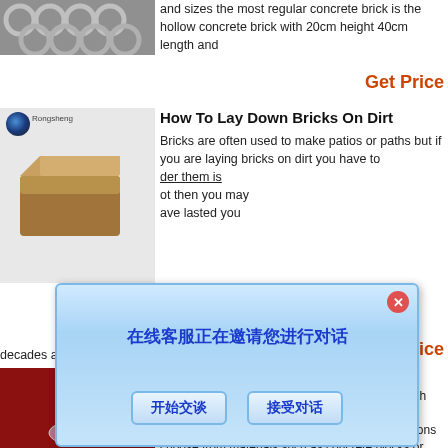[Figure (photo): Photo of metallic rings/circular objects, grey tones]
and sizes the most regular concrete brick is the hollow concrete brick with 20cm height 40cm length and
Get Price
[Figure (photo): Rongsheng branded image showing a brown brick/block with logo]
How To Lay Down Bricks On Dirt
Bricks are often used to make patios or paths but if you are laying bricks on dirt you have to der them is ot then you may ave lasted you decades actually b
[Figure (screenshot): Chinese language chat popup dialog with message '在线客服正在邀请您进行对话' and buttons '开始交谈' and '接受对话']
Get Price
[Figure (photo): Photo of a glass bottle/vase with white beads on a red background]
Bricks Blocks
Bricks blocks we have a fantastic selection of high quality building bricks and blocks suitable for a variety of projects from garden walling to extensions choose from materials such as concrete blocks or clay bricks as well as breeze blocks to create walls which are both